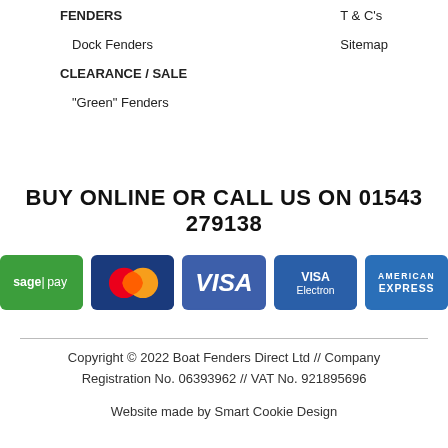FENDERS
Dock Fenders
CLEARANCE / SALE
"Green" Fenders
T & C's
Sitemap
BUY ONLINE OR CALL US ON 01543 279138
[Figure (other): Payment method logos: Sage Pay (green), MasterCard, VISA, VISA Electron, American Express]
Copyright © 2022 Boat Fenders Direct Ltd // Company Registration No. 06393962 // VAT No. 921895696
Website made by Smart Cookie Design